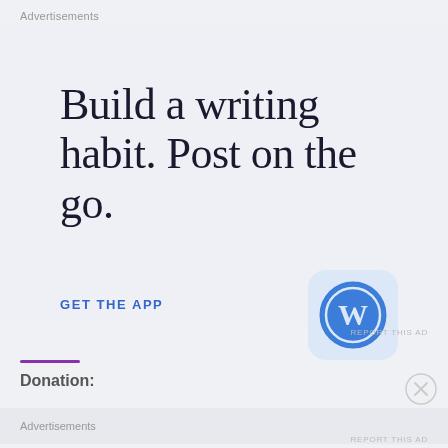Advertisements
Build a writing habit. Post on the go.
GET THE APP
[Figure (logo): WordPress app icon: rounded square with light blue background and blue W circle logo]
REPORT THIS AD
Donation:
Advertisements
REPORT THIS AD